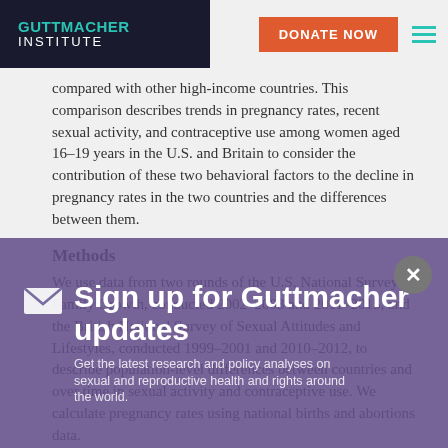GUTTMACHER INSTITUTE | DONATE NOW
compared with other high-income countries. This comparison describes trends in pregnancy rates, recent sexual activity, and contraceptive use among women aged 16–19 years in the U.S. and Britain to consider the contribution of these two behavioral factors to the decline in pregnancy rates in the two countries and the differences between them.
Methods
We use data from two rounds of the U.S. National Survey of Family Growth, conducted 2002–2003 and 2011–2015, and the British National Survey of Sexual Attitudes and Lifestyles, conducted 1999–2001 and 2010–2012, to describe population-level differences between countries and over time in sexual activity and contraceptive use. We calculate pregnancy rates using national births and abortions data.
Sign up for Guttmacher updates
Get the latest research and policy analyses on sexual and reproductive health and rights around the world.